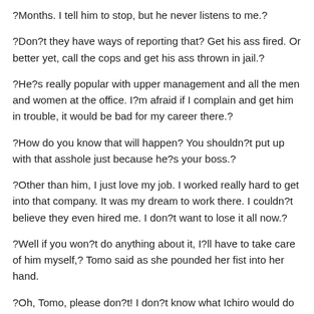?Months. I tell him to stop, but he never listens to me.?
?Don?t they have ways of reporting that? Get his ass fired. Or better yet, call the cops and get his ass thrown in jail.?
?He?s really popular with upper management and all the men and women at the office. I?m afraid if I complain and get him in trouble, it would be bad for my career there.?
?How do you know that will happen? You shouldn?t put up with that asshole just because he?s your boss.?
?Other than him, I just love my job. I worked really hard to get into that company. It was my dream to work there. I couldn?t believe they even hired me. I don?t want to lose it all now.?
?Well if you won?t do anything about it, I?ll have to take care of him myself,? Tomo said as she pounded her fist into her hand.
?Oh, Tomo, please don?t! I don?t know what Ichiro would do to you. I think he could be dangerous. I couldn?t stand it if you got